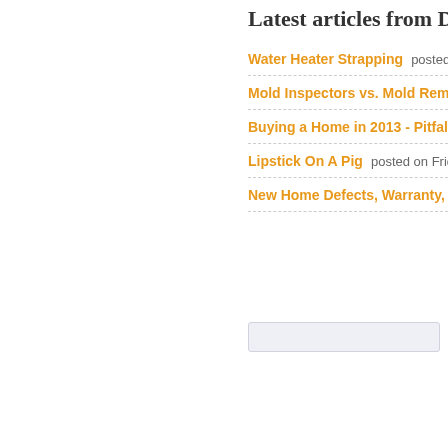Latest articles from Da
Water Heater Strapping  posted on Frida
Mold Inspectors vs. Mold Remediators
Buying a Home in 2013 - Pitfalls to Avo
Lipstick On A Pig  posted on Friday, 27 Se
New Home Defects, Warranty, and Ho
Last Updated on Thursday, 10 May 201